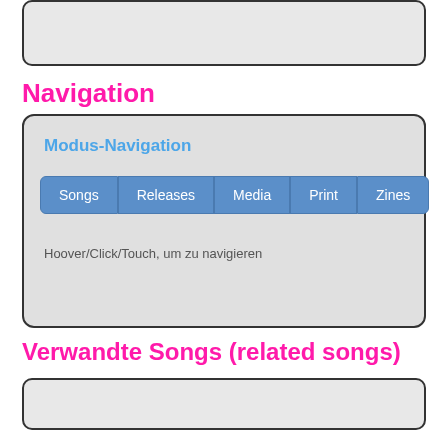[Figure (screenshot): Gray rounded rectangle box at the top of the page]
Navigation
[Figure (screenshot): Navigation widget box containing Modus-Navigation header, tab buttons (Songs, Releases, Media, Print, Zines), and hint text 'Hoover/Click/Touch, um zu navigieren']
Verwandte Songs (related songs)
[Figure (screenshot): Gray rounded rectangle box for related songs]
Song «Too Much Heaven» von Bee Gees.
Fakten